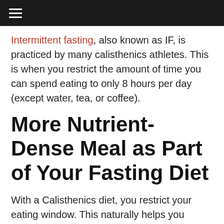Navigation bar with hamburger menu
Intermittent fasting, also known as IF, is practiced by many calisthenics athletes. This is when you restrict the amount of time you can spend eating to only 8 hours per day (except water, tea, or coffee).
More Nutrient-Dense Meal as Part of Your Fasting Diet
With a Calisthenics diet, you restrict your eating window. This naturally helps you gravitate toward more nutrient-dense meals and away from junk food. It's also easier to resist snacking. This means you may consume fewer calories. As a result, you